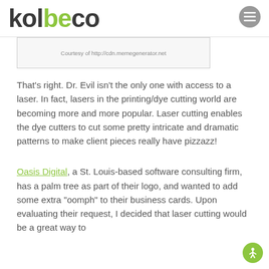kolbeco
Courtesy of http://cdn.memegenerator.net
That's right. Dr. Evil isn't the only one with access to a laser. In fact, lasers in the printing/dye cutting world are becoming more and more popular. Laser cutting enables the dye cutters to cut some pretty intricate and dramatic patterns to make client pieces really have pizzazz!
Oasis Digital, a St. Louis-based software consulting firm, has a palm tree as part of their logo, and wanted to add some extra “oomph” to their business cards. Upon evaluating their request, I decided that laser cutting would be a great way to